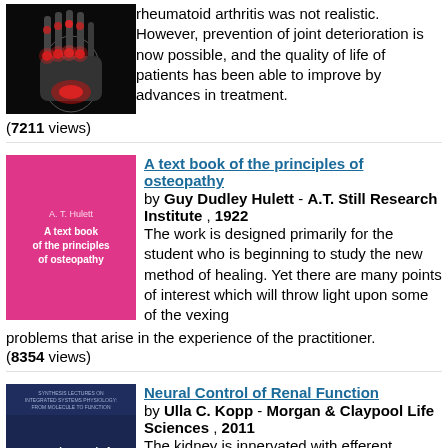[Figure (photo): X-ray image of a hand with glowing red arthritic joints on dark background]
rheumatoid arthritis was not realistic. However, prevention of joint deterioration is now possible, and the quality of life of patients has been able to improve by advances in treatment.
(7211 views)
[Figure (photo): Pink book cover titled 'A text book of the principles of osteopathy']
A text book of the principles of osteopathy by Guy Dudley Hulett - A.T. Still Research Institute , 1922
The work is designed primarily for the student who is beginning to study the new method of healing. Yet there are many points of interest which will throw light upon some of the vexing problems that arise in the experience of the practitioner.
(8354 views)
[Figure (photo): Book cover for 'Neural Control of Renal Function' by Ulla C. Kopp, dark blue and tan/gold gradient]
Neural Control of Renal Function by Ulla C. Kopp - Morgan & Claypool Life Sciences , 2011
The kidney is innervated with efferent sympathetic nerve fibers reaching the renal vasculature, the tubules, the juxtaglomerular